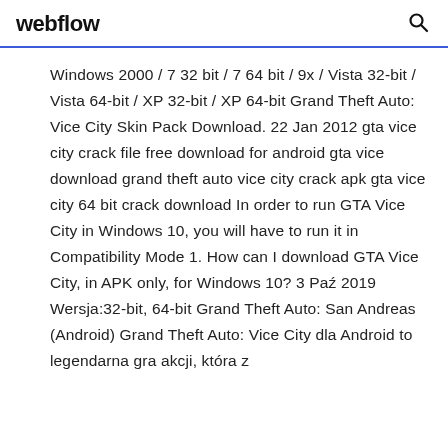webflow
Windows 2000 / 7 32 bit / 7 64 bit / 9x / Vista 32-bit / Vista 64-bit / XP 32-bit / XP 64-bit Grand Theft Auto: Vice City Skin Pack Download. 22 Jan 2012 gta vice city crack file free download for android gta vice download grand theft auto vice city crack apk gta vice city 64 bit crack download In order to run GTA Vice City in Windows 10, you will have to run it in Compatibility Mode 1. How can I download GTA Vice City, in APK only, for Windows 10? 3 Paź 2019 Wersja:32-bit, 64-bit Grand Theft Auto: San Andreas (Android) Grand Theft Auto: Vice City dla Android to legendarna gra akcji, która z